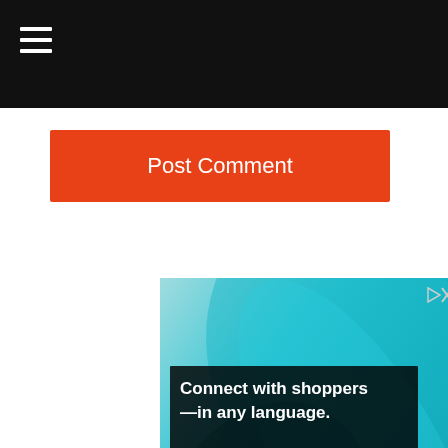Navigation bar with hamburger menu icon
Post Comment
[Figure (infographic): Advertisement banner: blue fabric/textile background with text 'Connect with shoppers —in any language.' and subtext 'Globalize your brand, expand your market, and watch your e-commerce sales soar.' with GET YOUR FREE DEMO call to action and ad close icons (triangle and X) in top right]
[Figure (photo): Bottom clothing advertisement from Berrylook showing three fashion items: woman in floral dress (NEW badge), dark shorts, and dark blue top/blouse. Ad close icons visible top right.]